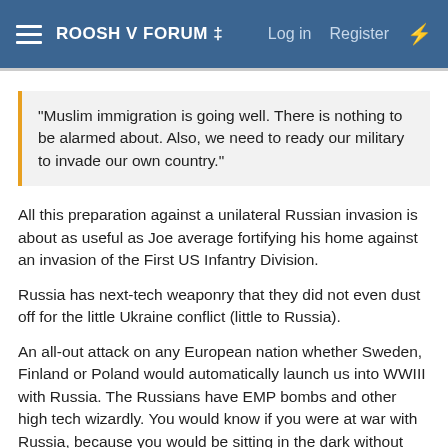ROOSH V FORUM ‡  Log in  Register
"Muslim immigration is going well. There is nothing to be alarmed about. Also, we need to ready our military to invade our own country."
All this preparation against a unilateral Russian invasion is about as useful as Joe average fortifying his home against an invasion of the First US Infantry Division.
Russia has next-tech weaponry that they did not even dust off for the little Ukraine conflict (little to Russia).
An all-out attack on any European nation whether Sweden, Finland or Poland would automatically launch us into WWIII with Russia. The Russians have EMP bombs and other high tech wizardly. You would know if you were at war with Russia, because you would be sitting in the dark without water - and you would know jack-shit because the internet would be down.